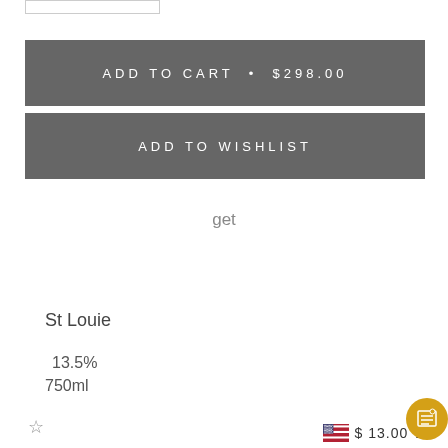[Figure (screenshot): White input box at top left (checkbox or input field)]
ADD TO CART • $298.00
ADD TO WISHLIST
get
St Louie
13.5%
750ml
☆
$ 13.00 ◆